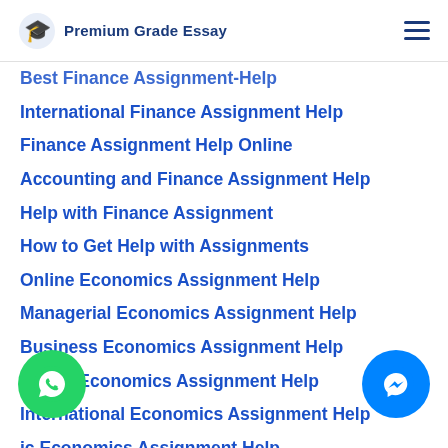Premium Grade Essay
Best Finance Assignment-Help
International Finance Assignment Help
Finance Assignment Help Online
Accounting and Finance Assignment Help
Help with Finance Assignment
How to Get Help with Assignments
Online Economics Assignment Help
Managerial Economics Assignment Help
Business Economics Assignment Help
Health Economics Assignment Help
International Economics Assignment Help
ic Economics Assignment Help
r Economics Assignment Help
Development Economics Assignment Help